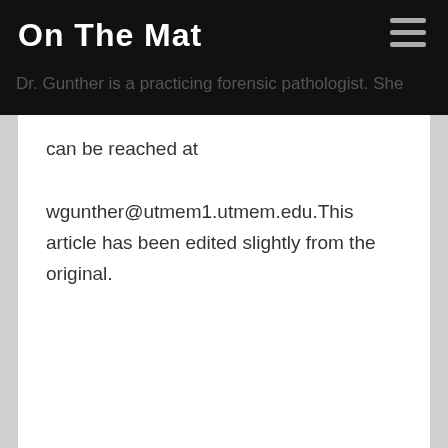On The Mat
Dr. Gunther is a practicing forensic pathologist. She can be reached at wgunther@utmem1.utmem.edu.This article has been edited slightly from the original.